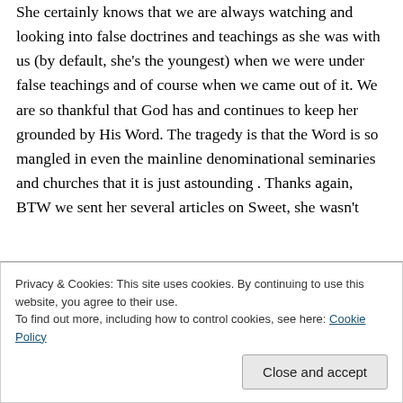She certainly knows that we are always watching and looking into false doctrines and teachings as she was with us (by default, she's the youngest) when we were under false teachings and of course when we came out of it. We are so thankful that God has and continues to keep her grounded by His Word. The tragedy is that the Word is so mangled in even the mainline denominational seminaries and churches that it is just astounding . Thanks again, BTW we sent her several articles on Sweet, she wasn't
Privacy & Cookies: This site uses cookies. By continuing to use this website, you agree to their use.
To find out more, including how to control cookies, see here: Cookie Policy
Close and accept